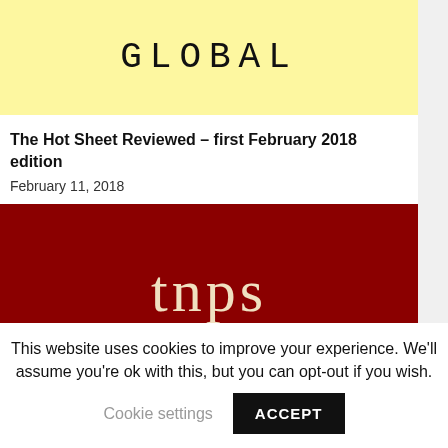[Figure (logo): Yellow banner with the word GLOBAL in large spaced monospace letters]
The Hot Sheet Reviewed – first February 2018 edition
February 11, 2018
[Figure (logo): Dark red/maroon banner with TNPS logo text in cream/beige serif letters]
This website uses cookies to improve your experience. We'll assume you're ok with this, but you can opt-out if you wish.